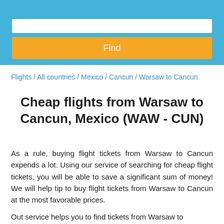Find
Flights / All countries / Mexico / Cancun / Warsaw to Cancun
Cheap flights from Warsaw to Cancun, Mexico (WAW - CUN)
As a rule, buying flight tickets from Warsaw to Cancun expends a lot. Using our service of searching for cheap flight tickets, you will be able to save a significant sum of money! We will help tip to buy flight tickets from Warsaw to Cancun at the most favorable prices.
Out service helps you to find tickets from Warsaw to